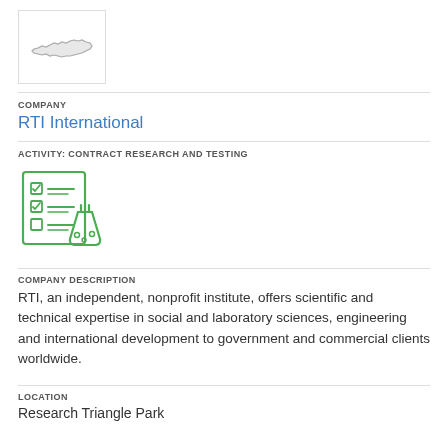[Figure (logo): State of North Carolina outline logo in a white bordered box]
COMPANY
RTI International
ACTIVITY: CONTRACT RESEARCH AND TESTING
[Figure (illustration): Green icon of a checklist with a laboratory flask/beaker, representing contract research and testing]
COMPANY DESCRIPTION
RTI, an independent, nonprofit institute, offers scientific and technical expertise in social and laboratory sciences, engineering and international development to government and commercial clients worldwide.
LOCATION
Research Triangle Park